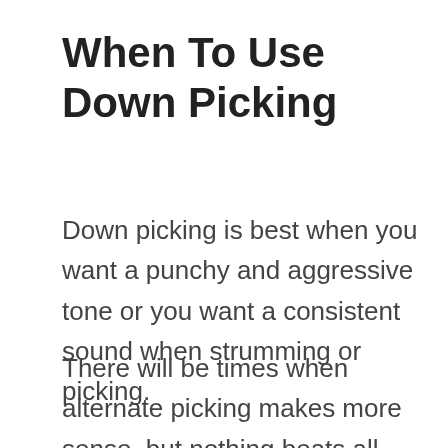When To Use Down Picking
Down picking is best when you want a punchy and aggressive tone or you want a consistent sound when strumming or picking.
There will be times when alternate picking makes more sense, but nothing beats all down-picking for